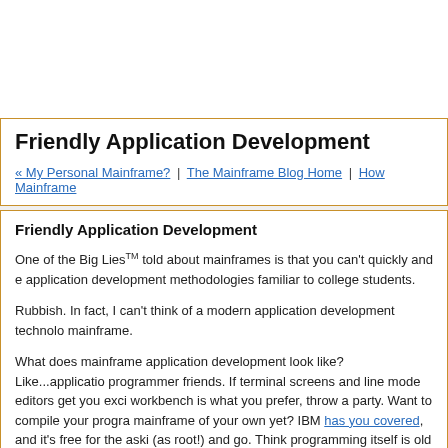Friendly Application Development
« My Personal Mainframe? | The Mainframe Blog Home | How Mainframe
Friendly Application Development
One of the Big Lies™ told about mainframes is that you can't quickly and easily use application development methodologies familiar to college students.
Rubbish. In fact, I can't think of a modern application development technology that doesn't run on the mainframe.
What does mainframe application development look like? Like...application development, programmer friends. If terminal screens and line mode editors get you excited, mainframe workbench is what you prefer, throw a party. Want to compile your programs on a mainframe of your own yet? IBM has you covered, and it's free for the asking. Download it (as root!) and go. Think programming itself is old fashioned? Then have a look at modeling/BPEL stuff.